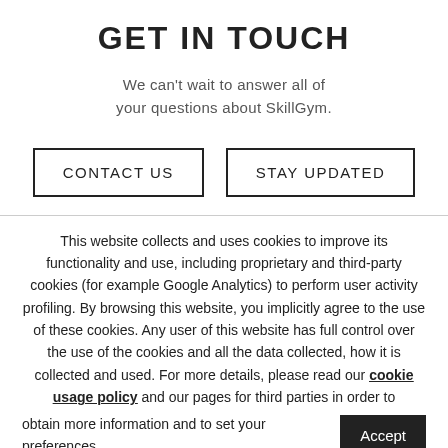GET IN TOUCH
We can't wait to answer all of your questions about SkillGym.
CONTACT US
STAY UPDATED
This website collects and uses cookies to improve its functionality and use, including proprietary and third-party cookies (for example Google Analytics) to perform user activity profiling. By browsing this website, you implicitly agree to the use of these cookies. Any user of this website has full control over the use of the cookies and all the data collected, how it is collected and used. For more details, please read our cookie usage policy and our pages for third parties in order to obtain more information and to set your preferences.
Accept